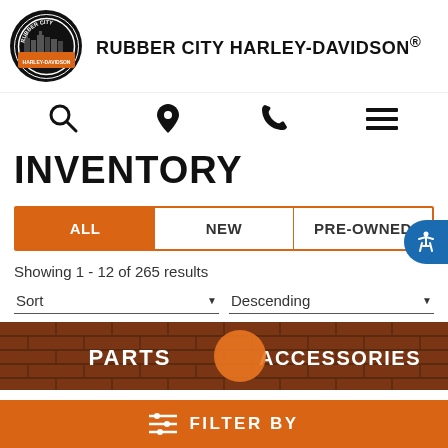RUBBER CITY HARLEY-DAVIDSON®
INVENTORY
ALL | NEW | PRE-OWNED
Showing 1 - 12 of 265 results
Sort | Descending
[Figure (photo): Photograph of a brick wall storefront showing PARTS and ACCESSORIES signage]
FILTER BY